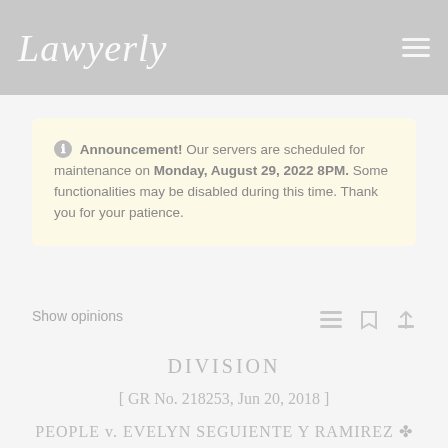Lawyerly
Announcement! Our servers are scheduled for maintenance on Monday, August 29, 2022 8PM. Some functionalities may be disabled during this time. Thank you for your patience.
Show opinions
DIVISION
[ GR No. 218253, Jun 20, 2018 ]
PEOPLE v. EVELYN SEGUIENTE Y RAMIREZ